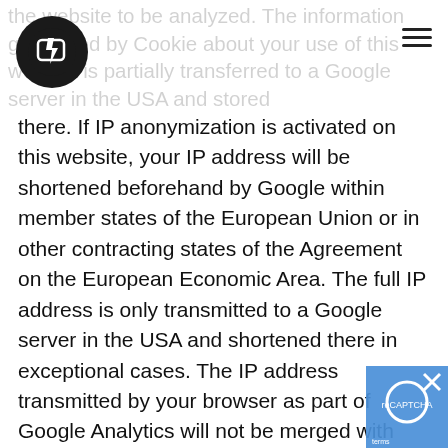the website to be analyzed. The information generated by cookie about your use of this website is partially transferred to a Google server in the USA and stored
there. If IP anonymization is activated on this website, your IP address will be shortened beforehand by Google within member states of the European Union or in other contracting states of the Agreement on the European Economic Area. The full IP address is only transmitted to a Google server in the USA and shortened there in exceptional cases. The IP address transmitted by your browser as part of Google Analytics will not be merged with other Google data. On behalf of the operator of this website, Google will use this information to evaluate your use of the website, to compile reports on website activity and to provide the website operator with other services relating to website activity and internet usage. Our legitimate interest in data processing also lies in these purposes. The legal basis for the use of Google Analytics is § 15 para. 3 TMG or Art. 6 Para. 1 lit. f GDPR. The